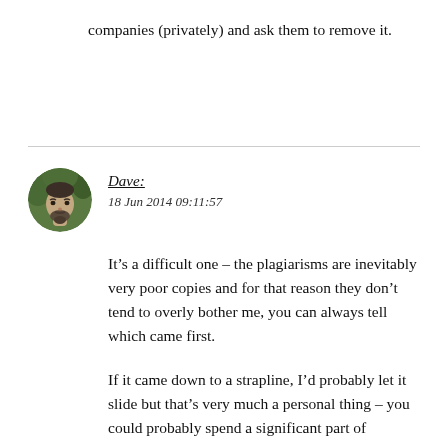companies (privately) and ask them to remove it.
Dave:
18 Jun 2014 09:11:57
It’s a difficult one – the plagiarisms are inevitably very poor copies and for that reason they don’t tend to overly bother me, you can always tell which came first.
If it came down to a strapline, I’d probably let it slide but that’s very much a personal thing – you could probably spend a significant part of